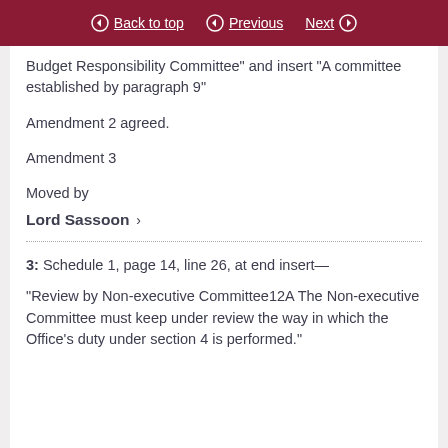Back to top | Previous | Next
Budget Responsibility Committee” and insert “A committee established by paragraph 9”
Amendment 2 agreed.
Amendment 3
Moved by
Lord Sassoon ›
3: Schedule 1, page 14, line 26, at end insert—
“Review by Non-executive Committee12A The Non-executive Committee must keep under review the way in which the Office’s duty under section 4 is performed.”